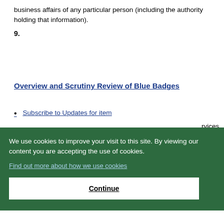business affairs of any particular person (including the authority holding that information).
9.
Overview and Scrutiny Review of Blue Badges
Subscribe to Updates for item
rvices,
We use cookies to improve your visit to this site. By viewing our content you are accepting the use of cookies.
Find out more about how we use cookies
Continue